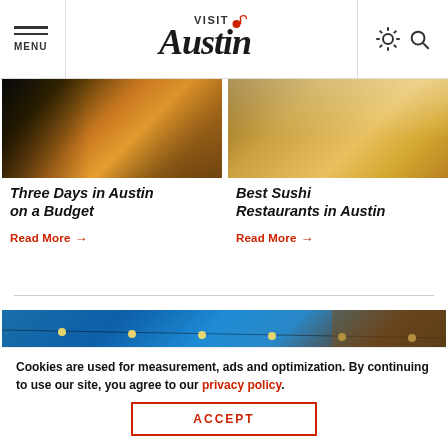[Figure (screenshot): Visit Austin website navigation bar with MENU on left, Visit Austin logo in center, sun and search icons on right]
[Figure (photo): Night city street scene with light trails from cars in Austin]
Three Days in Austin on a Budget
Read More →
[Figure (photo): Sushi restaurant scene with wooden bowls and table setting]
Best Sushi Restaurants in Austin
Read More →
[Figure (photo): Outdoor venue with string lights against blue sky and wood structure]
Cookies are used for measurement, ads and optimization. By continuing to use our site, you agree to our privacy policy.
ACCEPT